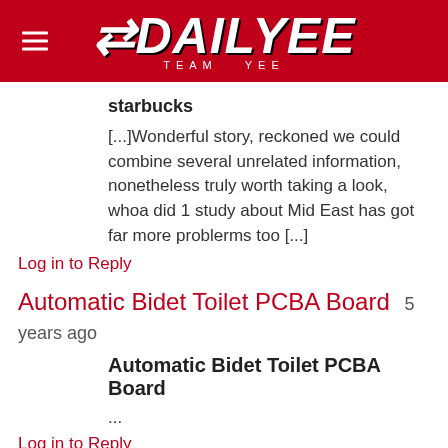DAILYEE TEAM YEE
starbucks
[...]Wonderful story, reckoned we could combine several unrelated information, nonetheless truly worth taking a look, whoa did 1 study about Mid East has got far more problerms too [...]
Log in to Reply
Automatic Bidet Toilet PCBA Board  5 years ago
Automatic Bidet Toilet PCBA Board
...
Log in to Reply
bangladesh men's enzyme soft washing sewing jackets manufacturer